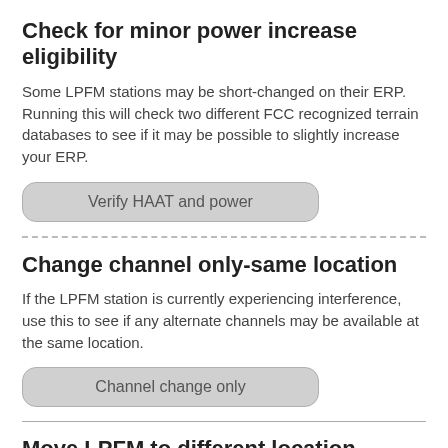Check for minor power increase eligibility
Some LPFM stations may be short-changed on their ERP. Running this will check two different FCC recognized terrain databases to see if it may be possible to slightly increase your ERP.
[Figure (other): Button labeled 'Verify HAAT and power']
Change channel only-same location
If the LPFM station is currently experiencing interference, use this to see if any alternate channels may be available at the same location.
[Figure (other): Button labeled 'Channel change only']
Move LPFM to different location
Fill out only ONE the following section only if moving